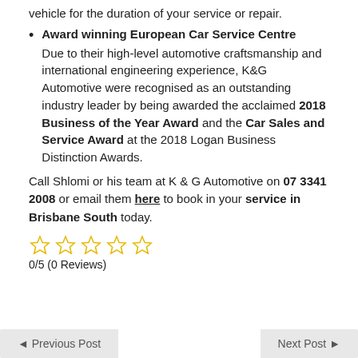vehicle for the duration of your service or repair.
Award winning European Car Service Centre
Due to their high-level automotive craftsmanship and international engineering experience, K&G Automotive were recognised as an outstanding industry leader by being awarded the acclaimed 2018 Business of the Year Award and the Car Sales and Service Award at the 2018 Logan Business Distinction Awards.
Call Shlomi or his team at K & G Automotive on 07 3341 2008 or email them here to book in your service in Brisbane South today.
[Figure (other): Five empty star rating icons in yellow/gold outline]
0/5 (0 Reviews)
◄ Previous Post
Next Post ►